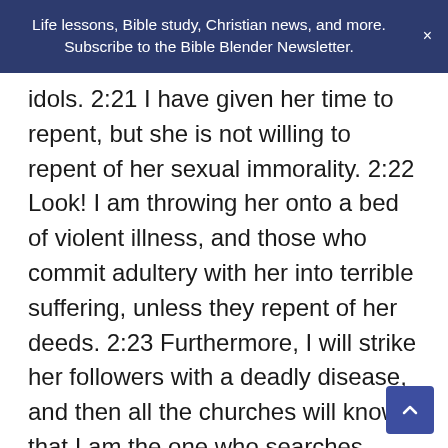Life lessons, Bible study, Christian news, and more. Subscribe to the Bible Blender Newsletter. ×
idols. 2:21 I have given her time to repent, but she is not willing to repent of her sexual immorality. 2:22 Look! I am throwing her onto a bed of violent illness, and those who commit adultery with her into terrible suffering, unless they repent of her deeds. 2:23 Furthermore, I will strike her followers with a deadly disease, and then all the churches will know that I am the one who searches minds and hearts. I will repay each one of you what your deeds deserve. 2:24 But to the rest of you in Thyatira, all who do not hold to this